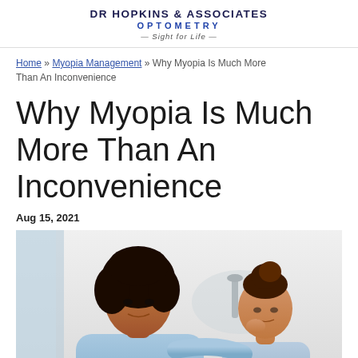DR HOPKINS & ASSOCIATES OPTOMETRY — Sight for Life —
Home » Myopia Management » Why Myopia Is Much More Than An Inconvenience
Why Myopia Is Much More Than An Inconvenience
Aug 15, 2021
[Figure (photo): A woman with curly hair in a light blue denim shirt leans over attentively toward a young girl with hair in a bun, who appears to be looking down thoughtfully with her hand near her mouth. They are in a bright kitchen setting.]